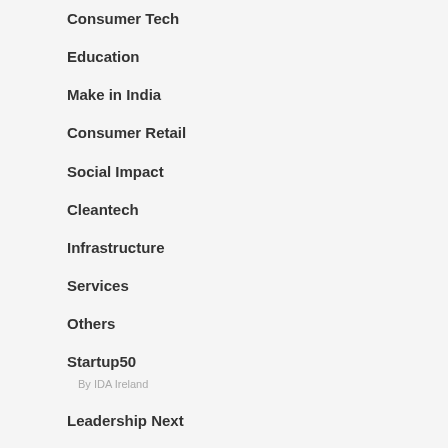Consumer Tech
Education
Make in India
Consumer Retail
Social Impact
Cleantech
Infrastructure
Services
Others
Startup50
By IDA Ireland
Leadership Next